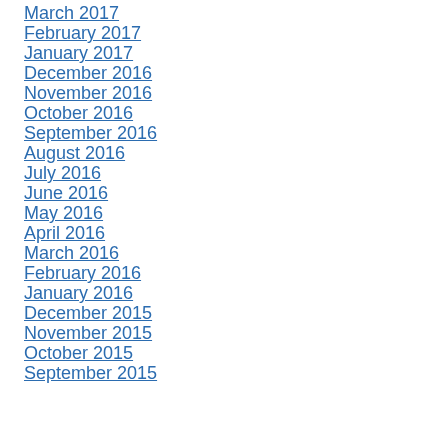March 2017
February 2017
January 2017
December 2016
November 2016
October 2016
September 2016
August 2016
July 2016
June 2016
May 2016
April 2016
March 2016
February 2016
January 2016
December 2015
November 2015
October 2015
September 2015